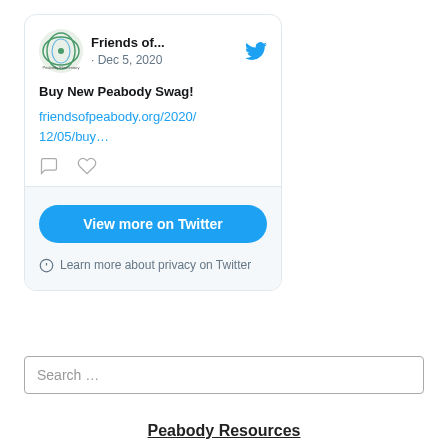[Figure (screenshot): Twitter embed widget showing a tweet from Friends of Peabody Elementary dated Dec 5, 2020, with text 'Buy New Peabody Swag!' and a link to friendsofpeabody.org/2020/12/05/buy..., with comment and heart icons, a 'View more on Twitter' button, and a privacy notice.]
Friends of...
· Dec 5, 2020
Buy New Peabody Swag!
friendsofpeabody.org/2020/12/05/buy…
View more on Twitter
Learn more about privacy on Twitter
Search …
Peabody Resources